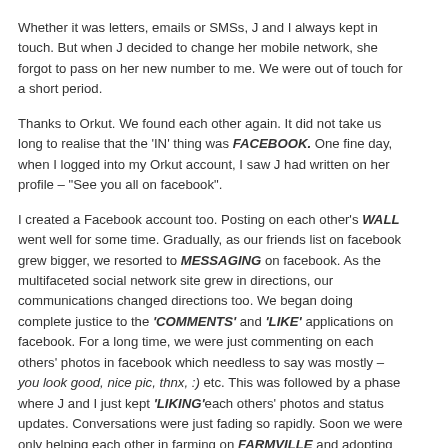Whether it was letters, emails or SMSs, J and I always kept in touch. But when J decided to change her mobile network, she forgot to pass on her new number to me. We were out of touch for a short period.
Thanks to Orkut. We found each other again. It did not take us long to realise that the 'IN' thing was FACEBOOK. One fine day, when I logged into my Orkut account, I saw J had written on her profile – "See you all on facebook".
I created a Facebook account too. Posting on each other's WALL went well for some time. Gradually, as our friends list on facebook grew bigger, we resorted to MESSAGING on facebook. As the multifaceted social network site grew in directions, our communications changed directions too. We began doing complete justice to the 'COMMENTS' and 'LIKE' applications on facebook. For a long time, we were just commenting on each others' photos in facebook which needless to say was mostly – you look good, nice pic, thnx, :) etc. This was followed by a phase where J and I just kept 'LIKING' each others' photos and status updates. Conversations were just fading so rapidly. Soon we were only helping each other in farming on FARMVILLE and adopting 'ugly ducklings 'and ' lonely black sheeps ' from each other's farm.